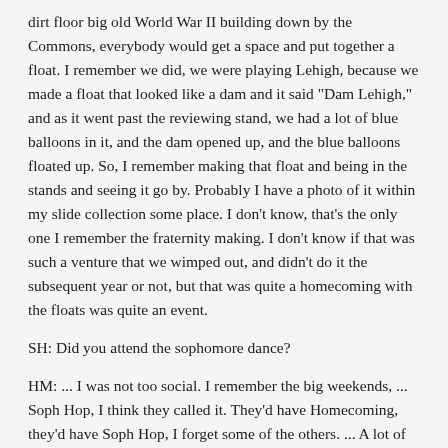dirt floor big old World War II building down by the Commons, everybody would get a space and put together a float.  I remember we did, we were playing Lehigh, because we made a float that looked like a dam and it said "Dam Lehigh," and as it went past the reviewing stand, we had a lot of blue balloons in it, and the dam opened up, and the blue balloons floated up.  So, I remember making that float and being in the stands and seeing it go by.  Probably I have a photo of it within my slide collection some place.  I don't know, that's the only one I remember the fraternity making.  I don't know if that was such a venture that we wimped out, and didn't do it the subsequent year or not, but that was quite a homecoming with the floats was quite an event.
SH:  Did you attend the sophomore dance?
HM:  ... I was not too social.  I remember the big weekends, ... Soph Hop, I think they called it.  They'd have Homecoming, they'd have Soph Hop, I forget some of the others.  ... A lot of those weekends there would be big entertainment.  I was telling Connor that analogous to Snooki being here, one of the entertainers, one of the popular shows, Snow Salom—